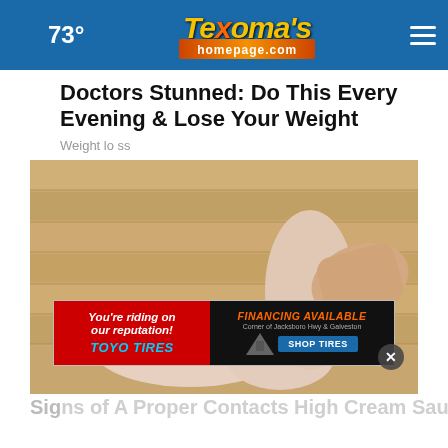73° Texoma's homepage.com
Doctors Stunned: Do This Every Evening & Lose Your Weight
Weight loss
[Figure (photo): Close-up photo of a person's foot and ankle being held by a hand, on a wooden floor background]
[Figure (infographic): Advertisement banner: 'You're riding on our reputation! TOYO TIRES' on left in red, 'FINANCING AVAILABLE Corner of Jacksboro Hwy & Galveston SHOP TIRES' with Royal Off Road logo on right]
Signs of A Proper Contacts High Cream Sauce